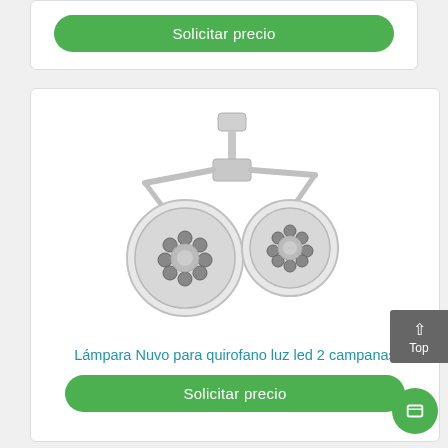[Figure (other): Green 'Solicitar precio' button (partial top card)]
[Figure (photo): Lámpara Nuvo surgical LED ceiling lamp with 2 bell-shaped lamp heads mounted on ceiling bracket]
Lámpara Nuvo para quirofano luz led 2 campanas
[Figure (other): Green 'Solicitar precio' button]
[Figure (other): Gray 'Top' back-to-top button]
[Figure (other): Green circular chat/scroll button]